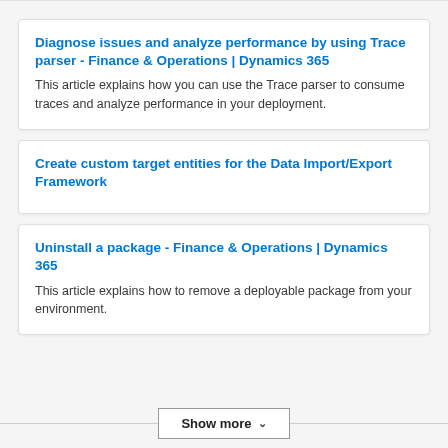Diagnose issues and analyze performance by using Trace parser - Finance & Operations | Dynamics 365
This article explains how you can use the Trace parser to consume traces and analyze performance in your deployment.
Create custom target entities for the Data Import/Export Framework
Uninstall a package - Finance & Operations | Dynamics 365
This article explains how to remove a deployable package from your environment.
Show more